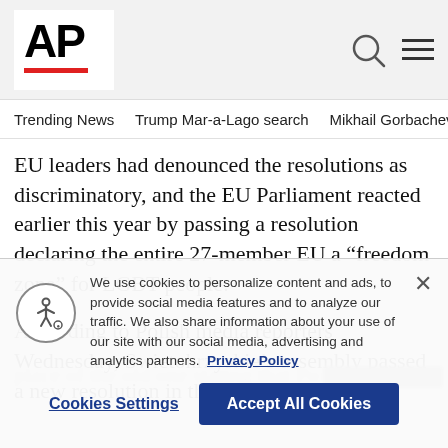AP
Trending News   Trump Mar-a-Lago search   Mikhail Gorbachev d
EU leaders had denounced the resolutions as discriminatory, and the EU Parliament reacted earlier this year by passing a resolution declaring the entire 27-member EU a “freedom zone” for LGBT people.
According to Polish media reporters Wednesday, Swietokrzyskie’s assembly passed a new resolution in the place of the old one stating that Po...
We use cookies to personalize content and ads, to provide social media features and to analyze our traffic. We also share information about your use of our site with our social media, advertising and analytics partners. Privacy Policy
Cookies Settings   Accept All Cookies